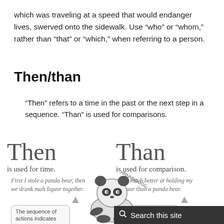which was traveling at a speed that would endanger lives, swerved onto the sidewalk. Use “who” or “whom,” rather than “that” or “which,” when referring to a person.
Then/than
“Then” refers to a time in the past or the next step in a sequence. “Than” is used for comparisons.
[Figure (infographic): Two-column infographic comparing 'Then' and 'Than'. Left column: large word 'Then', 'is used for time.', italic example 'First I stole a panda bear, then we drank malt liquor together.', upward arrow, caption box 'The sequence of actions indicates time: first stealing the panda, and then drinking.' Right column: large word 'Than', 'is used for comparison.', italic example 'I’m much better at holding my liquor than a panda bear.', upward arrow, caption box 'This is comparing a panda’s drinking ability...'. Center: panda illustration with 'HRNNNGGGGGG' text. Bottom right: dark search bar overlay 'Search this site'.]